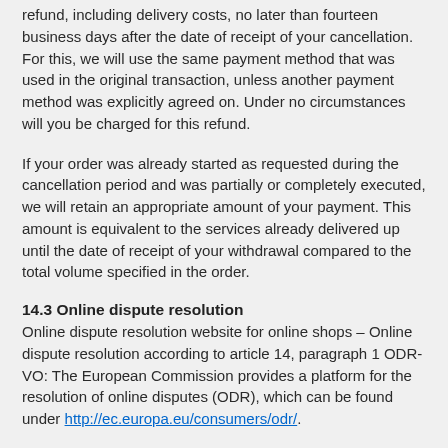refund, including delivery costs, no later than fourteen business days after the date of receipt of your cancellation. For this, we will use the same payment method that was used in the original transaction, unless another payment method was explicitly agreed on. Under no circumstances will you be charged for this refund.
If your order was already started as requested during the cancellation period and was partially or completely executed, we will retain an appropriate amount of your payment. This amount is equivalent to the services already delivered up until the date of receipt of your withdrawal compared to the total volume specified in the order.
14.3 Online dispute resolution
Online dispute resolution website for online shops – Online dispute resolution according to article 14, paragraph 1 ODR-VO: The European Commission provides a platform for the resolution of online disputes (ODR), which can be found under http://ec.europa.eu/consumers/odr/.
14.4 Money-back guarantee
Before the start of the service period, the customer can